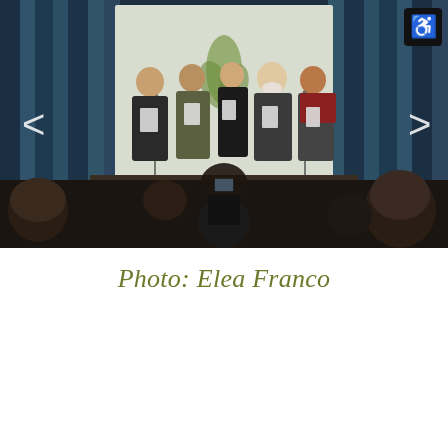[Figure (photo): Five people standing on a stage reading from papers at microphones in front of a white backdrop with a green plant design. An audience is seated in front with one person photographing with a phone. The room has blue curtains in the background. A wheelchair accessibility icon is visible in the top right corner with navigation arrows on the left and right.]
Photo: Elea Franco